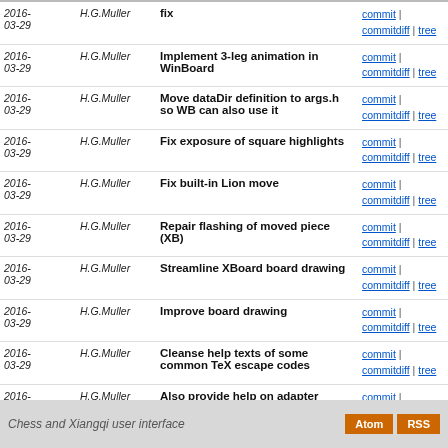| Date | Author | Message | Links |
| --- | --- | --- | --- |
| 2016-03-29 | H.G.Muller | fix | commit | commitdiff | tree |
| 2016-03-29 | H.G.Muller | Implement 3-leg animation in WinBoard | commit | commitdiff | tree |
| 2016-03-29 | H.G.Muller | Move dataDir definition to args.h so WB can also use it | commit | commitdiff | tree |
| 2016-03-29 | H.G.Muller | Fix exposure of square highlights | commit | commitdiff | tree |
| 2016-03-29 | H.G.Muller | Fix built-in Lion move | commit | commitdiff | tree |
| 2016-03-29 | H.G.Muller | Repair flashing of moved piece (XB) | commit | commitdiff | tree |
| 2016-03-29 | H.G.Muller | Streamline XBoard board drawing | commit | commitdiff | tree |
| 2016-03-29 | H.G.Muller | Improve board drawing | commit | commitdiff | tree |
| 2016-03-29 | H.G.Muller | Cleanse help texts of some common TeX escape codes | commit | commitdiff | tree |
| 2016-03-29 | H.G.Muller | Also provide help on adapter options | commit | commitdiff | tree |
| 2016-03-29 | H.G.Muller | Also buffer engine man page | commit | commitdiff | tree |
next
Chess and Xiangqi user interface